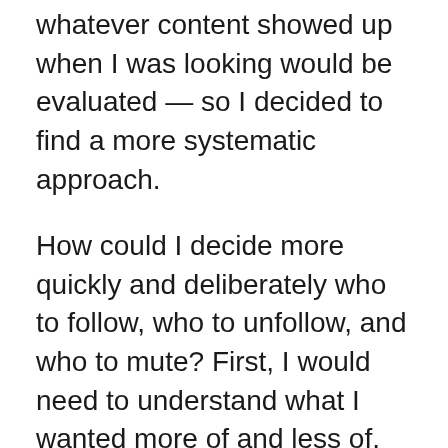whatever content showed up when I was looking would be evaluated — so I decided to find a more systematic approach.
How could I decide more quickly and deliberately who to follow, who to unfollow, and who to mute? First, I would need to understand what I wanted more of and less of.
I started playing with the Twitter API to pull down a list of people I followed, so I could at least open up all their profiles quickly and look through what they'd been tweeting. I was following hundreds of accounts, so it turned into quite the mess. I started playing with some other uses for the Twitter API, when I had a bit